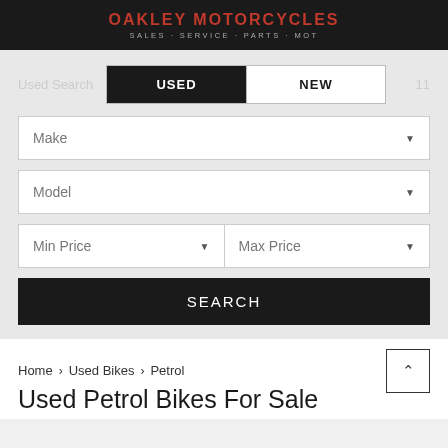OAKLEY MOTORCYCLES
SALES · SERVICE · PARTS · MOT
Used Search | USED | NEW | 11
Make
Model
Min Price | Max Price
SEARCH
Home > Used Bikes > Petrol
Used Petrol Bikes For Sale